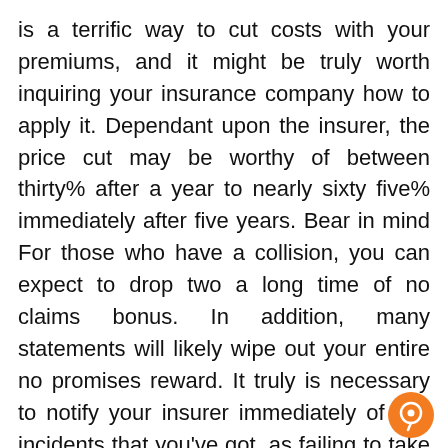is a terrific way to cut costs with your premiums, and it might be truly worth inquiring your insurance company how to apply it. Dependant upon the insurer, the price cut may be worthy of between thirty% after a year to nearly sixty five% immediately after five years. Bear in mind For those who have a collision, you can expect to drop two a long time of no claims bonus. In addition, many statements will likely wipe out your entire no promises reward. It truly is necessary to notify your insurer immediately of any incidents that you've got, as failing to take action could indicate that future statements will probably be rejected.
Most insurers provide no promises low cost security for a charge of close to PS25. It means that you can make a particular amount of statements a year with no worrying regarding your premiums likely up. Additionally it is doable to incorporate it to a fresh policy When you have a no claims reward. Moreover, you could transfer your no claims discounted to a different insurance provider if you want. To